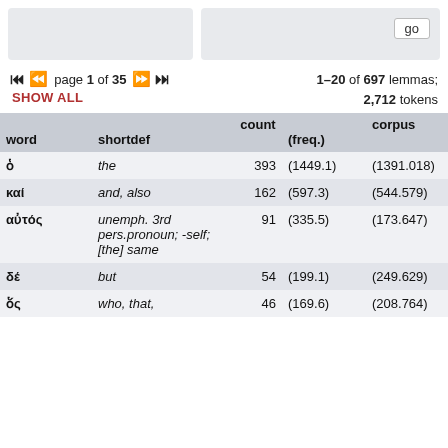page 1 of 35   SHOW ALL   1–20 of 697 lemmas; 2,712 tokens
| word | shortdef | count | (freq.) | corpus |
| --- | --- | --- | --- | --- |
| ὁ | the | 393 | (1449.1) | (1391.018) | (1… |
| καί | and, also | 162 | (597.3) | (544.579) | (… |
| αὐτός | unemph. 3rd pers.pronoun; -self; [the] same | 91 | (335.5) | (173.647) | (… |
| δέ | but | 54 | (199.1) | (249.629) | (… |
| ὅς | who, that, | 46 | (169.6) | (208.764) | (… |